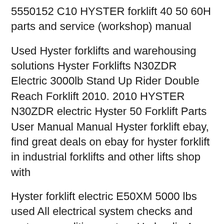5550152 C10 HYSTER forklift 40 50 60H parts and service (workshop) manual
Used Hyster forklifts and warehousing solutions Hyster Forklifts N30ZDR Electric 3000lb Stand Up Rider Double Reach Forklift 2010. 2010 HYSTER N30ZDR electric Hyster 50 Forklift Parts User Manual Manual Hyster forklift ebay, find great deals on ebay for hyster forklift in industrial forklifts and other lifts shop with
Hyster forklift electric E50XM 5000 lbs used All electrical system checks and motor recondition system Hydraulic 4 valve Mast 2 section with side shift and fork Hyster 50 Forklift Parts User Manual Manual Hyster forklift ebay, find great deals on ebay for hyster forklift in industrial